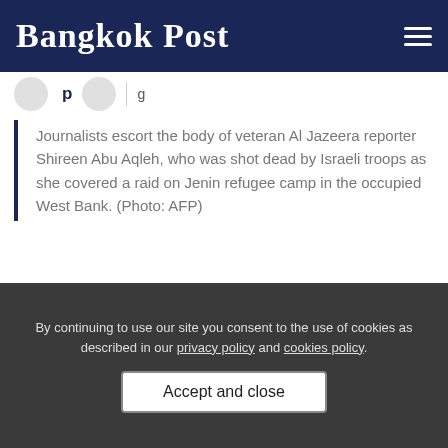Bangkok Post
Journalists escort the body of veteran Al Jazeera reporter Shireen Abu Aqleh, who was shot dead by Israeli troops as she covered a raid on Jenin refugee camp in the occupied West Bank. (Photo: AFP)
JENIN (PALESTINIAN TERRITORIES): Veteran journalist Shireen Abu Aqleh was shot dead by Israeli troops Wednesday as she covered a raid on
By continuing to use our site you consent to the use of cookies as described in our privacy policy and cookies policy.
Accept and close